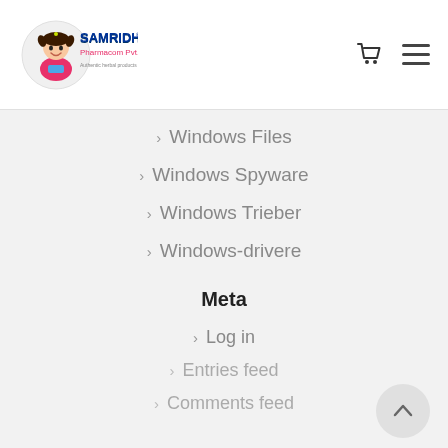Samridhi Pharmacom Pvt. Ltd.
Windows Files
Windows Spyware
Windows Trieber
Windows-drivere
Meta
Log in
Entries feed
Comments feed